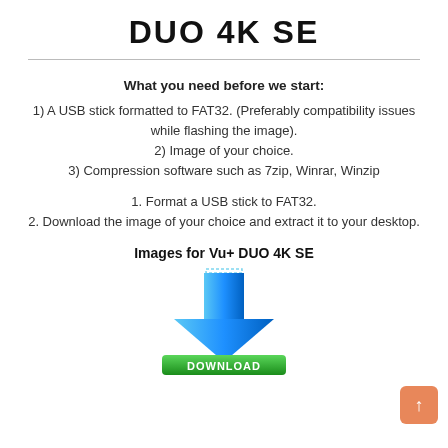DUO 4K SE
What you need before we start:
1) A USB stick formatted to FAT32. (Preferably compatibility issues while flashing the image).
2) Image of your choice.
3) Compression software such as 7zip, Winrar, Winzip
1. Format a USB stick to FAT32.
2. Download the image of your choice and extract it to your desktop.
Images for Vu+ DUO 4K SE
[Figure (illustration): Blue download arrow pointing down above a green DOWNLOAD button]